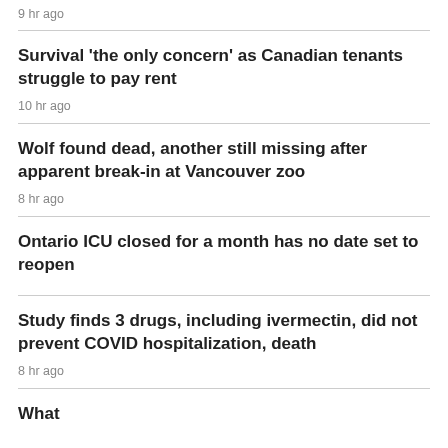9 hr ago
Survival 'the only concern' as Canadian tenants struggle to pay rent
10 hr ago
Wolf found dead, another still missing after apparent break-in at Vancouver zoo
8 hr ago
Ontario ICU closed for a month has no date set to reopen
Study finds 3 drugs, including ivermectin, did not prevent COVID hospitalization, death
8 hr ago
What ooo ooo ooot obo ooo ooo ooo ...